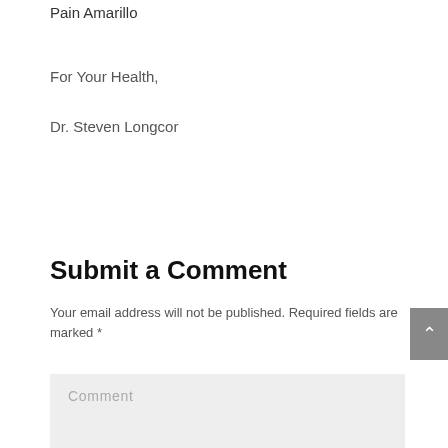Pain Amarillo
For Your Health,
Dr. Steven Longcor
Submit a Comment
Your email address will not be published. Required fields are marked *
Comment